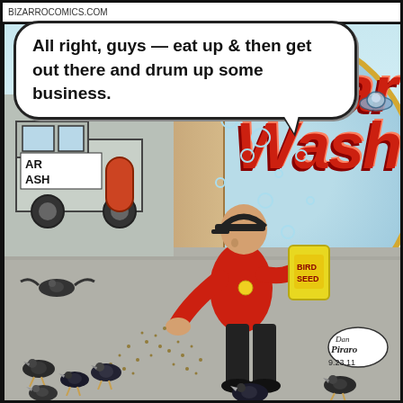BIZARROCOMICS.COM
[Figure (illustration): Bizarro comic strip panel showing a car wash employee in a red shirt and cap feeding bird seed to a flock of pigeons/birds on the ground outside a Car Wash, with a speech bubble saying 'All right, guys — eat up & then get out there and drum up some business.' A truck is visible in the background on the left, and a large 'Car Wash' sign is visible on the right with bubbles. Signed by Dan Piraro, dated 9.23.11.]
All right, guys — eat up & then get out there and drum up some business.